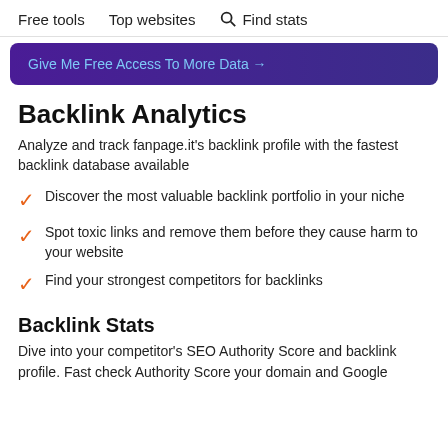Free tools   Top websites   Find stats
[Figure (other): Purple banner button: Give Me Free Access To More Data →]
Backlink Analytics
Analyze and track fanpage.it's backlink profile with the fastest backlink database available
Discover the most valuable backlink portfolio in your niche
Spot toxic links and remove them before they cause harm to your website
Find your strongest competitors for backlinks
Backlink Stats
Dive into your competitor's SEO Authority Score and backlink profile. Fast check Authority Score your domain and Google Ranking.